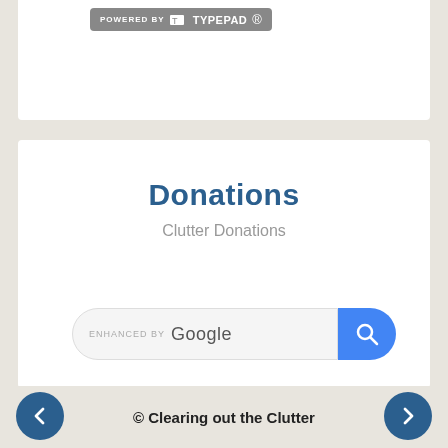[Figure (logo): Powered by TypePad badge/logo in grey rounded rectangle]
Donations
Clutter Donations
[Figure (screenshot): Enhanced by Google search bar with blue search button]
© Clearing out the Clutter